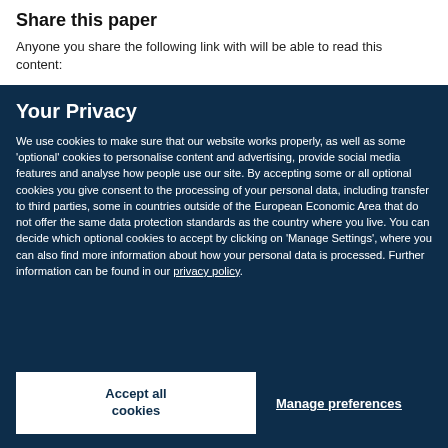Share this paper
Anyone you share the following link with will be able to read this content:
Your Privacy
We use cookies to make sure that our website works properly, as well as some 'optional' cookies to personalise content and advertising, provide social media features and analyse how people use our site. By accepting some or all optional cookies you give consent to the processing of your personal data, including transfer to third parties, some in countries outside of the European Economic Area that do not offer the same data protection standards as the country where you live. You can decide which optional cookies to accept by clicking on 'Manage Settings', where you can also find more information about how your personal data is processed. Further information can be found in our privacy policy.
Accept all cookies
Manage preferences